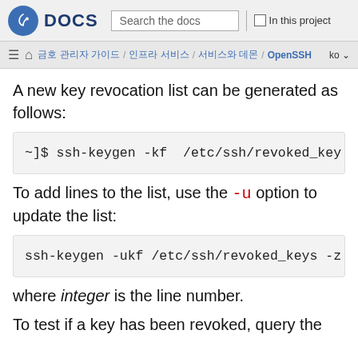Fedora DOCS | Search the docs | In this project
시스템 관리자 가이드 / 인프라 서비스 / 서비스와 데몬 / OpenSSH  ko
A new key revocation list can be generated as follows:
~]$ ssh-keygen -kf  /etc/ssh/revoked_key
To add lines to the list, use the -u option to update the list:
ssh-keygen -ukf /etc/ssh/revoked_keys -z
where integer is the line number.
To test if a key has been revoked, query the